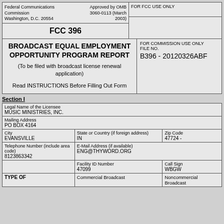Federal Communications Commission
Washington, D.C. 20554
Approved by OMB 3060-0113 (March 2003)
FOR FCC USE ONLY
FCC 396
BROADCAST EQUAL EMPLOYMENT OPPORTUNITY PROGRAM REPORT
(To be filed with broadcast license renewal application)
Read INSTRUCTIONS Before Filling Out Form
FOR COMMISSION USE ONLY
FILE NO.
B396 - 20120326ABF
Section I
| Legal Name of the Licensee
MUSIC MINISTRIES, INC. |  |
| Mailing Address
PO BOX 4164 |  |
| City
EVANSVILLE | State or Country (if foreign address)
IN | Zip Code
47724 - |
| Telephone Number (include area code)
8123863342 | E-Mail Address (if available)
ENG@THYWORD.ORG |
|  | Facility ID Number
47099 | Call Sign
WBGW |
| TYPE OF | Commercial Broadcast | Noncommercial Broadcast |